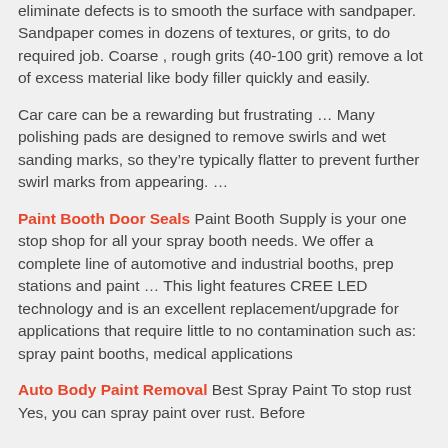eliminate defects is to smooth the surface with sandpaper. Sandpaper comes in dozens of textures, or grits, to do required job. Coarse , rough grits (40-100 grit) remove a lot of excess material like body filler quickly and easily.
Car care can be a rewarding but frustrating ... Many polishing pads are designed to remove swirls and wet sanding marks, so they're typically flatter to prevent further swirl marks from appearing. ...
Paint Booth Door Seals Paint Booth Supply is your one stop shop for all your spray booth needs. We offer a complete line of automotive and industrial booths, prep stations and paint ... This light features CREE LED technology and is an excellent replacement/upgrade for applications that require little to no contamination such as: spray paint booths, medical applications
Auto Body Paint Removal Best Spray Paint To stop rust Yes, you can spray paint over rust. Before